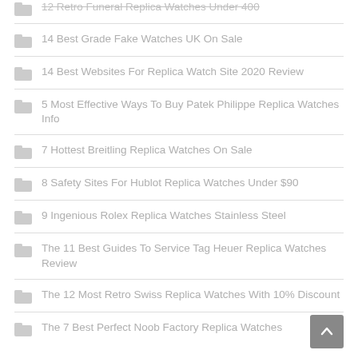14 Best Grade Fake Watches UK On Sale
14 Best Websites For Replica Watch Site 2020 Review
5 Most Effective Ways To Buy Patek Philippe Replica Watches Info
7 Hottest Breitling Replica Watches On Sale
8 Safety Sites For Hublot Replica Watches Under $90
9 Ingenious Rolex Replica Watches Stainless Steel
The 11 Best Guides To Service Tag Heuer Replica Watches Review
The 12 Most Retro Swiss Replica Watches With 10% Discount
The 7 Best Perfect Noob Factory Replica Watches